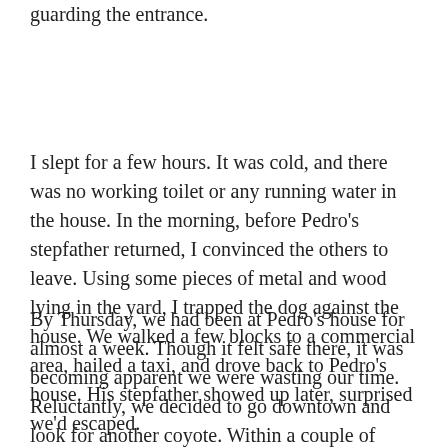guarding the entrance.
I slept for a few hours. It was cold, and there was no working toilet or any running water in the house. In the morning, before Pedro's stepfather returned, I convinced the others to leave. Using some pieces of metal and wood lying in the yard, I trapped the dog against the house. We walked a few blocks to a commercial area, hailed a taxi, and drove back to Pedro's house. His stepfather showed up later, surprised we'd escaped.
By Thursday, we had been at Pedro's house for almost a week. Though it felt safe there, it was becoming apparent we were wasting our time. Reluctantly, we decided to go downtown and look for another coyote. Within a couple of hours, we found one near the main gate—a tall, chubby guy who called himself Sonora, after the Mexican state. His price was US$1,800,